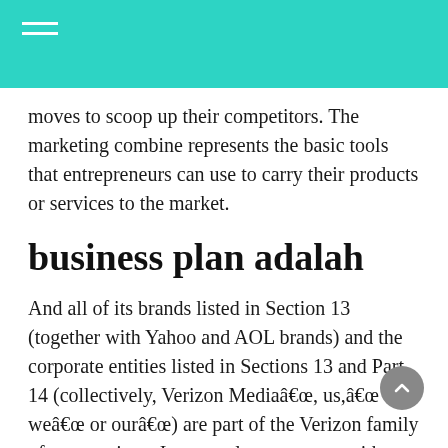moves to scoop up their competitors. The marketing combine represents the basic tools that entrepreneurs can use to carry their products or services to the market.
business plan adalah
And all of its brands listed in Section 13 (together with Yahoo and AOL brands) and the corporate entities listed in Sections 13 and Part 14 (collectively, Verizon Mediaâ€œ, us,â€œ weâ€œ or ourâ€œ) are part of the Verizon family of corporations. I am nearly to start out with my english diploma,i was pressured that i had not